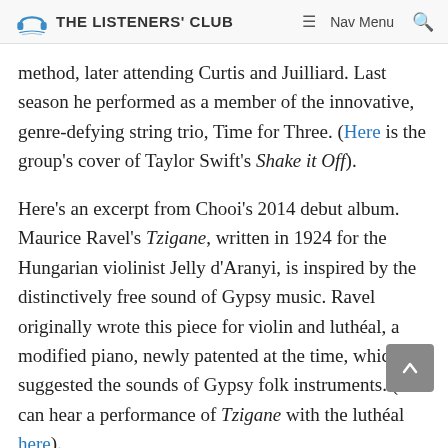THE LISTENERS' CLUB | Nav Menu [search]
method, later attending Curtis and Juilliard. Last season he performed as a member of the innovative, genre-defying string trio, Time for Three. (Here is the group's cover of Taylor Swift's Shake it Off).
Here's an excerpt from Chooi's 2014 debut album. Maurice Ravel's Tzigane, written in 1924 for the Hungarian violinist Jelly d'Aranyi, is inspired by the distinctively free sound of Gypsy music. Ravel originally wrote this piece for violin and luthéal, a modified piano, newly patented at the time, which suggested the sounds of Gypsy folk instruments. (You can hear a performance of Tzigane with the luthéal here).